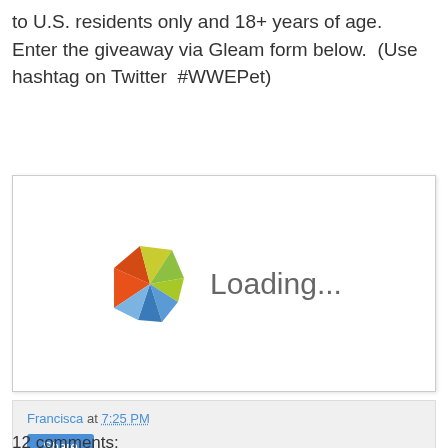to U.S. residents only and 18+ years of age.  Enter the giveaway via Gleam form below.  (Use hashtag on Twitter  #WWEPet)
[Figure (screenshot): Gleam giveaway widget loading screen showing a colorful pinwheel logo and 'Loading...' text]
Francisca at 7:25 PM
Share
12 comments: